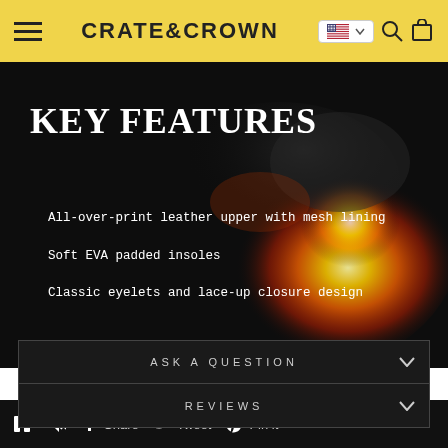CRATE&CROWN
[Figure (photo): Dark background with fire/flame imagery used as background for key features section]
KEY FEATURES
All-over-print leather upper with mesh lining
Soft EVA padded insoles
Classic eyelets and lace-up closure design
ASK A QUESTION
REVIEWS
Share  Tweet  Pin it